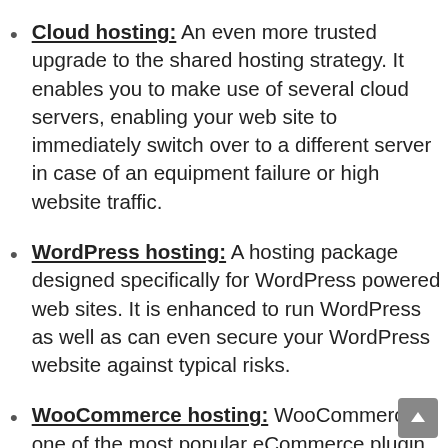Cloud hosting: An even more trusted upgrade to the shared hosting strategy. It enables you to make use of several cloud servers, enabling your web site to immediately switch over to a different server in case of an equipment failure or high website traffic.
WordPress hosting: A hosting package designed specifically for WordPress powered web sites. It is enhanced to run WordPress as well as can even secure your WordPress website against typical risks.
WooCommerce hosting: WooCommerce is one of the most popular eCommerce plugin for WordPress, it allows you to easily start an on the internet store with WordPress. WooCommerce hosting deals you all the crucial attributes...